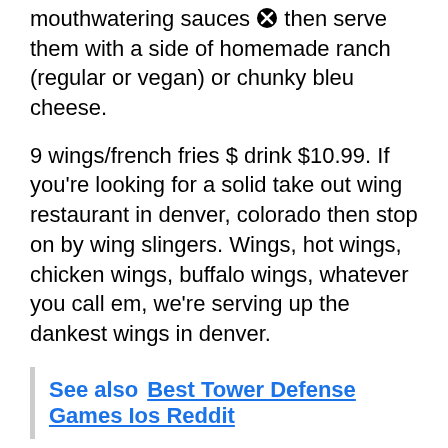mouthwatering sauces then serve them with a side of homemade ranch (regular or vegan) or chunky bleu cheese.
9 wings/french fries $ drink $10.99. If you're looking for a solid take out wing restaurant in denver, colorado then stop on by wing slingers. Wings, hot wings, chicken wings, buffalo wings, whatever you call em, we're serving up the dankest wings in denver.
See also  Best Tower Defense Games Ios Reddit
Enjoy the best boneless wings delivery thornton offers with uber eats. Best boneless wings in denver. Find our nearby pizza hut